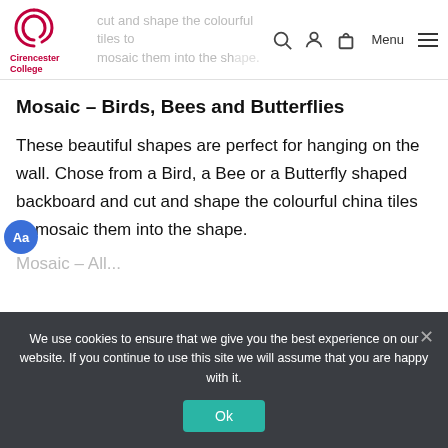cut and shape the colourful tiles to mosaic them into the shape.
Mosaic – Birds, Bees and Butterflies
These beautiful shapes are perfect for hanging on the wall. Chose from a Bird, a Bee or a Butterfly shaped backboard and cut and shape the colourful china tiles to mosaic them into the shape.
We use cookies to ensure that we give you the best experience on our website. If you continue to use this site we will assume that you are happy with it.